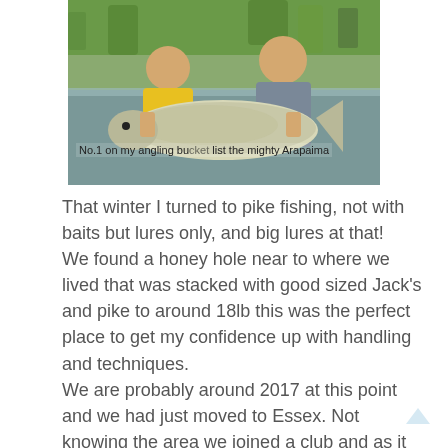[Figure (photo): Two men standing in water holding a very large Arapaima fish. The man on the left wears a yellow shirt, the man on the right wears a grey jacket. Green vegetation visible in background.]
No.1 on my angling bucket list the mighty Arapaima
That winter I turned to pike fishing, not with baits but lures only, and big lures at that!
We found a honey hole near to where we lived that was stacked with good sized Jack's and pike to around 18lb this was the perfect place to get my confidence up with handling and techniques.
We are probably around 2017 at this point and we had just moved to Essex. Not knowing the area we joined a club and as it was spring carp and tench took hold once again, that was until October! The pike were feeding I was eager to beat my pb (14lb)